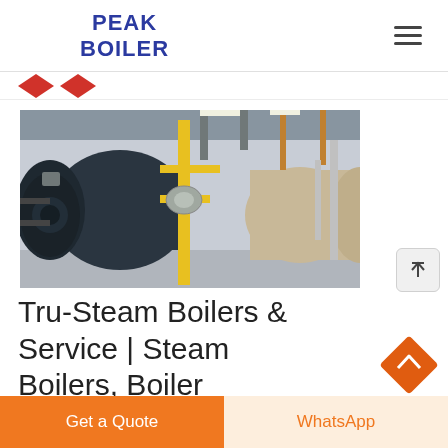PEAK BOILER
[Figure (photo): Industrial steam boilers in a factory setting. Two large horizontal cylindrical boilers are visible — one beige/tan on the right and one with a black burner assembly on the left. Yellow gas piping runs vertically in the center. The facility has exposed structural elements and fluorescent lighting overhead.]
Tru-Steam Boilers & Service | Steam Boilers, Boiler Manufacturer
Get a Quote
WhatsApp